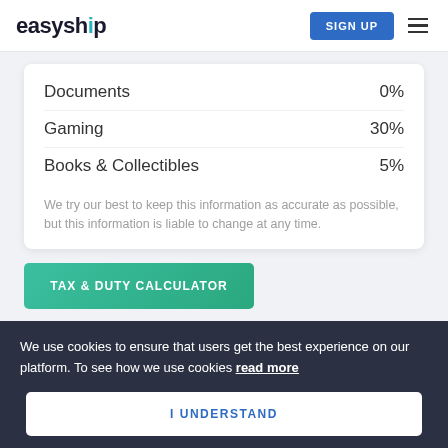easyship | SIGN UP
| Category | Rate |
| --- | --- |
| Documents | 0% |
| Gaming | 30% |
| Books & Collectibles | 5% |
We try our best to keep this information as accurate as possible, but this information is liable to change at any time.
TAX & DUTY CALCULATOR
We use cookies to ensure that users get the best experience on our platform. To see how we use cookies read more
I UNDERSTAND